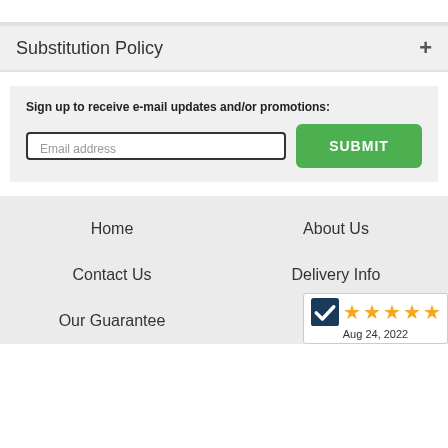Substitution Policy +
Sign up to receive e-mail updates and/or promotions:
Email address
SUBMIT
Home
About Us
Contact Us
Delivery Info
Our Guarantee
Internat
[Figure (other): 5-star rating badge with checkmark logo and date Aug 24, 2022]